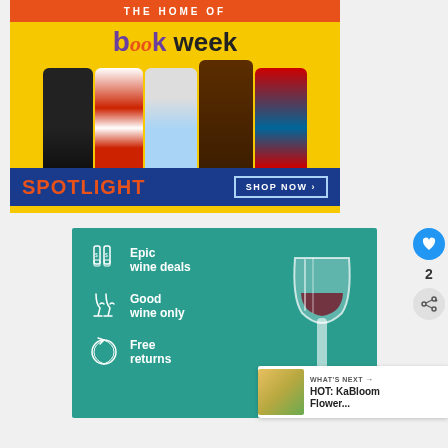[Figure (illustration): Spotlight 'Book Week' promotional banner ad showing children in costumes (Harry Potter, Where's Wally, Elsa, Gruffalo, Spider-Man) with yellow background, orange top bar reading 'THE HOME OF', purple and black 'book week' title text, blue bottom bar with red SPOTLIGHT logo and 'SHOP NOW >' button]
[Figure (illustration): Wine advertisement on teal/green background with white icon illustrations and text: 'Epic wine deals', 'Good wine only', 'Free returns', with a hand holding a wine glass on the right side]
2
WHAT'S NEXT → HOT: KaBloom Flower...